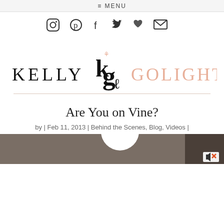≡ MENU
[Figure (other): Social media icons: Instagram, Pinterest, Facebook, Twitter, heart/Bloglovin, email envelope]
[Figure (logo): Kelly Golightly blog logo: KELLY on the left in black serif capitals, a stylized KG monogram in the center with a small swan/fleur above, and GOLIGHTLY on the right in peach/salmon serif capitals]
Are You on Vine?
by | Feb 11, 2013 | Behind the Scenes, Blog, Videos |
[Figure (screenshot): Bottom portion of a dark video screenshot with a white circle element and a speaker/mute icon in the bottom right corner]